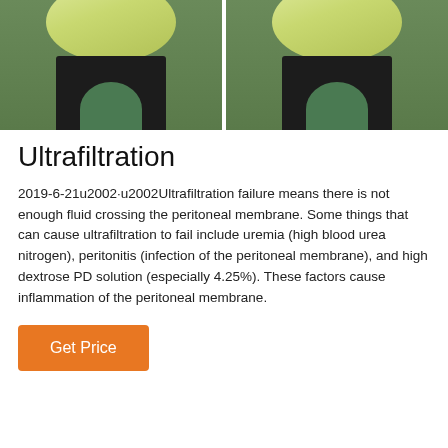[Figure (photo): Two green cylindrical ultrafiltration tanks on black stands, placed side by side on a green surface, separated by a white vertical divider.]
Ultrafiltration
2019-6-21u2002·u2002Ultrafiltration failure means there is not enough fluid crossing the peritoneal membrane. Some things that can cause ultrafiltration to fail include uremia (high blood urea nitrogen), peritonitis (infection of the peritoneal membrane), and high dextrose PD solution (especially 4.25%). These factors cause inflammation of the peritoneal membrane.
Get Price